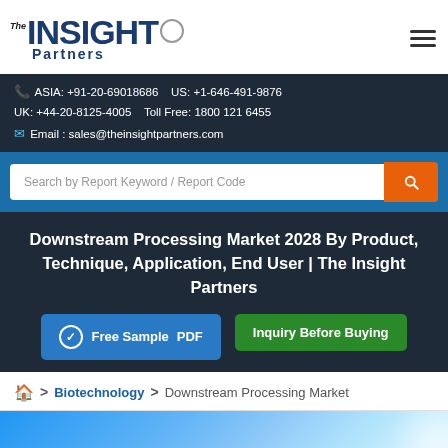[Figure (logo): The Insight Partners logo with circular graphic element]
ASIA: +91-20-69018686   US: +1-646-491-9876
UK: +44-20-8125-4005   Toll Free: 1800 121 6455
Email : sales@theinsightpartners.com
Search by Report Keyword / Report Code
Downstream Processing Market 2028 By Product, Technique, Application, End User | The Insight Partners
Free Sample PDF
Inquiry Before Buying
> Biotechnology > Downstream Processing Market